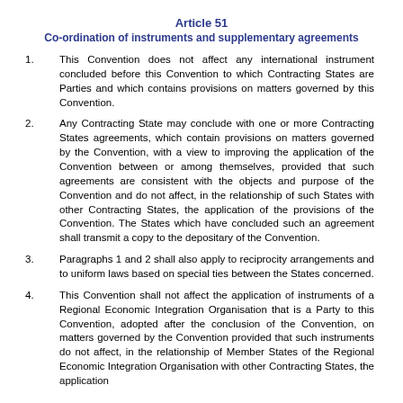Article 51
Co-ordination of instruments and supplementary agreements
1. This Convention does not affect any international instrument concluded before this Convention to which Contracting States are Parties and which contains provisions on matters governed by this Convention.
2. Any Contracting State may conclude with one or more Contracting States agreements, which contain provisions on matters governed by the Convention, with a view to improving the application of the Convention between or among themselves, provided that such agreements are consistent with the objects and purpose of the Convention and do not affect, in the relationship of such States with other Contracting States, the application of the provisions of the Convention. The States which have concluded such an agreement shall transmit a copy to the depositary of the Convention.
3. Paragraphs 1 and 2 shall also apply to reciprocity arrangements and to uniform laws based on special ties between the States concerned.
4. This Convention shall not affect the application of instruments of a Regional Economic Integration Organisation that is a Party to this Convention, adopted after the conclusion of the Convention, on matters governed by the Convention provided that such instruments do not affect, in the relationship of Member States of the Regional Economic Integration Organisation with other Contracting States, the application